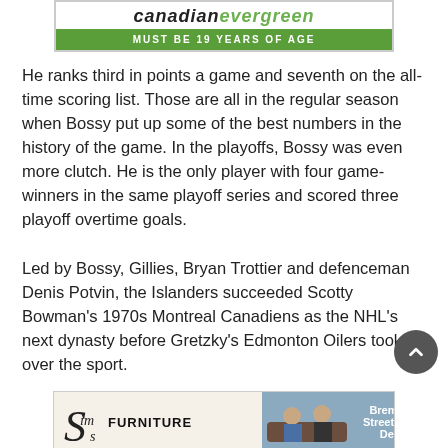[Figure (illustration): Canadian Evergreen advertisement banner with green bar reading MUST BE 19 YEARS OF AGE]
He ranks third in points a game and seventh on the all-time scoring list. Those are all in the regular season when Bossy put up some of the best numbers in the history of the game. In the playoffs, Bossy was even more clutch. He is the only player with four game-winners in the same playoff series and scored three playoff overtime goals.
Led by Bossy, Gillies, Bryan Trottier and defenceman Denis Potvin, the Islanders succeeded Scotty Bowman's 1970s Montreal Canadiens as the NHL's next dynasty before Gretzky's Edmonton Oilers took over the sport.
[Figure (illustration): Sims Furniture advertisement with logo, photo of people on couch, and text Bremner Street, Red Deer]